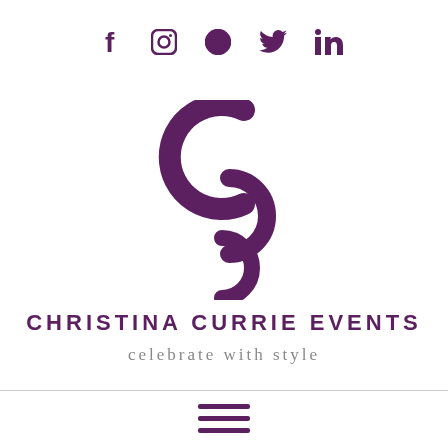[Figure (logo): Social media icons row: Facebook, Instagram, Pinterest, Twitter, LinkedIn in purple]
[Figure (logo): Christina Currie Events interlocking CCE monogram logo in purple]
CHRISTINA CURRIE EVENTS
celebrate with style
[Figure (other): Hamburger menu icon with three horizontal purple bars]